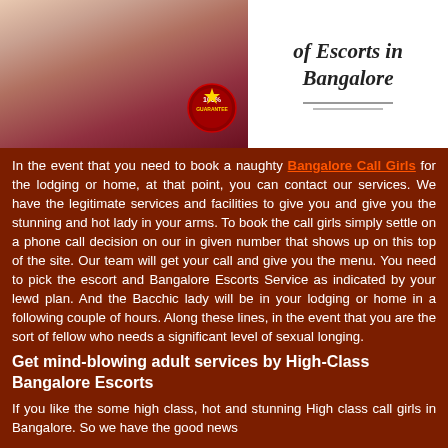[Figure (photo): Top banner image showing a woman in dark clothing on the left side, with a white panel on the right containing italic text 'of Escorts in Bangalore' and decorative underlines, plus a 100% Guarantee badge overlaid on the image.]
In the event that you need to book a naughty Bangalore Call Girls for the lodging or home, at that point, you can contact our services. We have the legitimate services and facilities to give you and give you the stunning and hot lady in your arms. To book the call girls simply settle on a phone call decision on our in given number that shows up on this top of the site. Our team will get your call and give you the menu. You need to pick the escort and Bangalore Escorts Service as indicated by your lewd plan. And the Bacchic lady will be in your lodging or home in a following couple of hours. Along these lines, in the event that you are the sort of fellow who needs a significant level of sexual longing.
Get mind-blowing adult services by High-Class Bangalore Escorts
If you like the some high class, hot and stunning High class call girls in Bangalore. So we have the good news